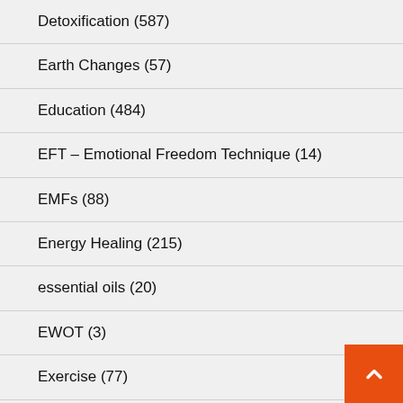Detoxification (587)
Earth Changes (57)
Education (484)
EFT – Emotional Freedom Technique (14)
EMFs (88)
Energy Healing (215)
essential oils (20)
EWOT (3)
Exercise (77)
FEATURED STORY (8)